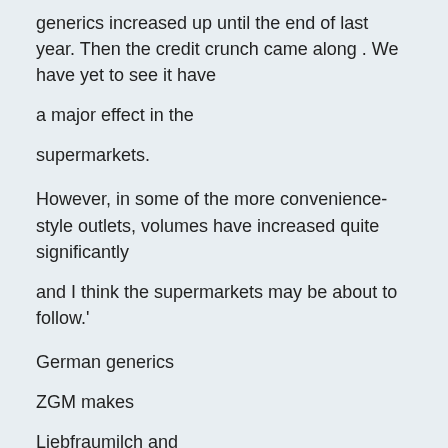generics increased up until the end of last year. Then the credit crunch came along . We have yet to see it have a major effect in the supermarkets.
However, in some of the more convenience-style outlets, volumes have increased quite significantly and I think the supermarkets may be about to follow.'
German generics
ZGM makes
Liebfraumilch and
hock at cost as a 'service line' - a way of getting a foot in the door with major retailers for other brands which actually do make money.